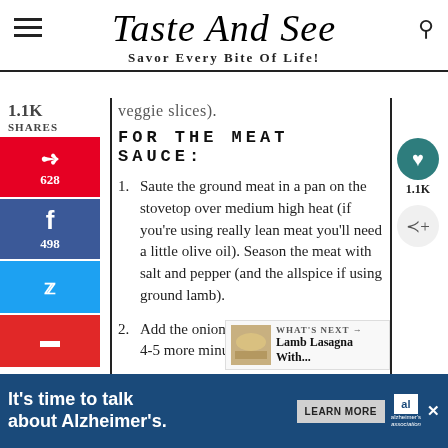Taste And See — Savor Every Bite Of Life!
veggie slices).
FOR THE MEAT SAUCE:
1. Saute the ground meat in a pan on the stovetop over medium high heat (if you're using really lean meat you'll need a little olive oil). Season the meat with salt and pepper (and the allspice if using ground lamb).
2. Add the onions and garlic and saute for 4-5 more minutes.
3. Stir in ¼ cup parsley and the marinara
[Figure (other): What's Next promotional box with Lamb Lasagna With... and food thumbnail]
WHAT'S NEXT → Lamb Lasagna With...
It's time to talk about Alzheimer's. LEARN MORE alzheimer's association